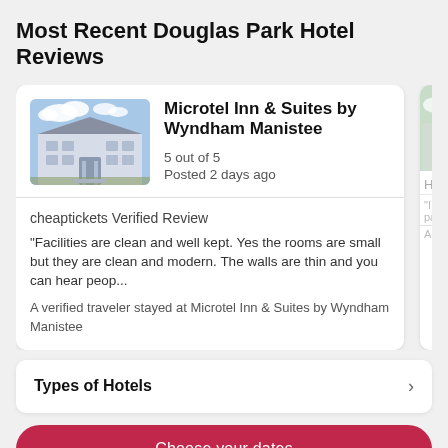Most Recent Douglas Park Hotel Reviews
Microtel Inn & Suites by Wyndham Manistee
5 out of 5
Posted 2 days ago
cheaptickets Verified Review
"Facilities are clean and well kept. Yes the rooms are small but they are clean and modern. The walls are thin and you can hear peop...
A verified traveler stayed at Microtel Inn & Suites by Wyndham Manistee
Types of Hotels
Choose your dates